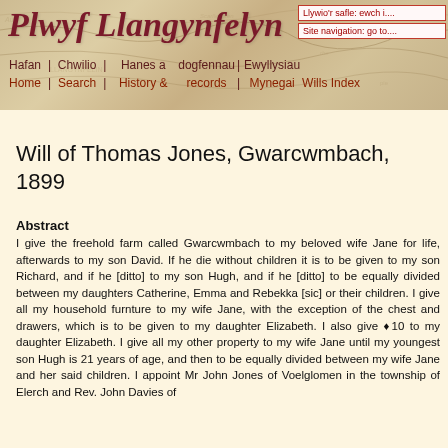Plwyf Llangynfelyn
Llywio'r safle: ewch i.... | Site navigation: go to....
Hafan | Chwilio | Hanes a dogfennau | Ewyllysiau Mynegai
Home | Search | History & records | Wills Index
Will of Thomas Jones, Gwarcwmbach, 1899
Abstract
I give the freehold farm called Gwarcwmbach to my beloved wife Jane for life, afterwards to my son David. If he die without children it is to be given to my son Richard, and if he [ditto] to my son Hugh, and if he [ditto] to be equally divided between my daughters Catherine, Emma and Rebekka [sic] or their children. I give all my household furnture to my wife Jane, with the exception of the chest and drawers, which is to be given to my daughter Elizabeth. I also give £10 to my daughter Elizabeth. I give all my other property to my wife Jane until my youngest son Hugh is 21 years of age, and then to be equally divided between my wife Jane and her said children. I appoint Mr John Jones of Voelglomen in the township of Elerch and Rev. John Davies of